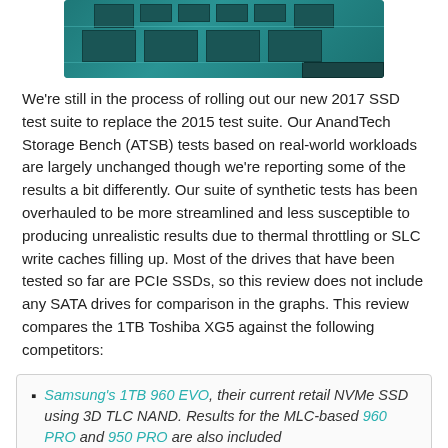[Figure (photo): Close-up photo of a green PCB circuit board (bottom portion visible), showing chips and traces on a teal/green background.]
We're still in the process of rolling out our new 2017 SSD test suite to replace the 2015 test suite. Our AnandTech Storage Bench (ATSB) tests based on real-world workloads are largely unchanged though we're reporting some of the results a bit differently. Our suite of synthetic tests has been overhauled to be more streamlined and less susceptible to producing unrealistic results due to thermal throttling or SLC write caches filling up. Most of the drives that have been tested so far are PCIe SSDs, so this review does not include any SATA drives for comparison in the graphs. This review compares the 1TB Toshiba XG5 against the following competitors:
Samsung's 1TB 960 EVO, their current retail NVMe SSD using 3D TLC NAND. Results for the MLC-based 960 PRO and 950 PRO are also included
Toshiba's 1TB OCZ RD400, the retail counterpart to the Toshiba XG3. The RD400 uses Toshiba's 15nm planar MLC NAND.